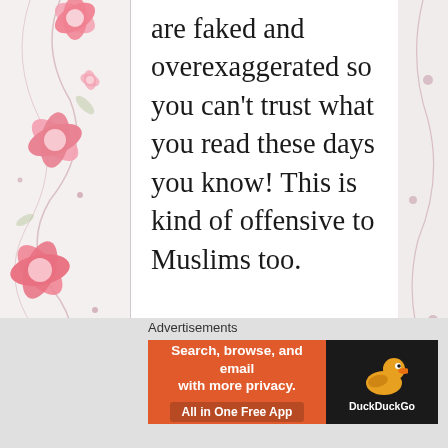[Figure (illustration): Decorative pink floral pattern on left side of page background]
are faked and overexaggerated so you can't trust what you read these days you know! This is kind of offensive to Muslims too.
★ Like
Advertisements
[Figure (screenshot): DuckDuckGo advertisement banner: 'Search, browse, and email with more privacy. All in One Free App' with DuckDuckGo duck logo on dark background on right side]